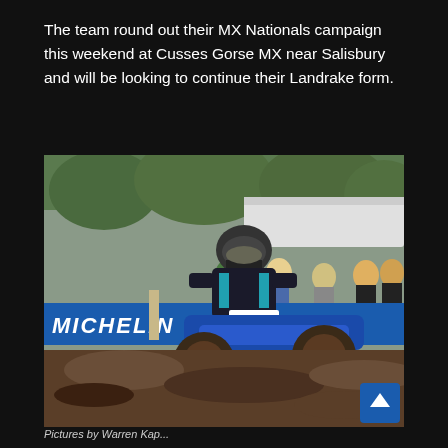The team round out their MX Nationals campaign this weekend at Cusses Gorse MX near Salisbury and will be looking to continue their Landrake form.
[Figure (photo): A motocross rider on a muddy blue and white Yamaha motorcycle cornering hard on a dirt track with Michelin sponsor banners visible in the background, along with spectators and trees.]
Pictures by Warren Kap...